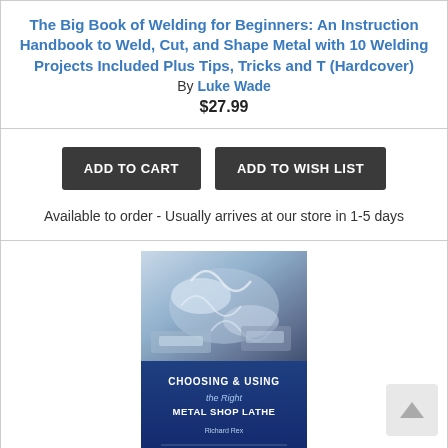The Big Book of Welding for Beginners: An Instruction Handbook to Weld, Cut, and Shape Metal with 10 Welding Projects Included Plus Tips, Tricks and T (Hardcover) By Luke Wade $27.99
ADD TO CART | ADD TO WISH LIST
Available to order - Usually arrives at our store in 1-5 days
[Figure (illustration): Book cover of 'Choosing & Using the Right Metal Shop Lathe' by Richard Rex. Top half shows metal machining/lathe operation with metallic shavings. Bottom half is dark blue with white bold text showing the title.]
Choosing & Using the Right Metal Shop Lathe (Paperback)